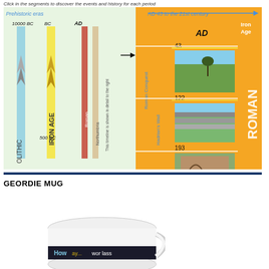Click in the segments to discover the events and history for each period
[Figure (infographic): Historical timeline infographic showing prehistoric eras (left) and AD 43 to the 21st century (right). Left side shows vertical bands for 10000 BC, BC/Iron Age/500 BC, AD/Roman/Northumbria periods. Right side shows Roman period timeline with events: Roman Conquest (AD 43), Hadrian's Wall (122), and 193, with photos of Hadrian's Wall landscape, wall sections, and a Roman building. Iron Age and Roman labels on right side colored orange/yellow.]
GEORDIE MUG
[Figure (photo): Photo of a white Geordie mug with a dark band showing text 'Howay... wor lass' or similar Geordie dialect phrase, partially visible at bottom of page.]